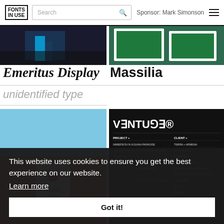FONTS IN USE | Search | Sponsor: Mark Simonson
[Figure (photo): Dark photograph with blue lighting, possibly a person or event]
[Figure (photo): Green branded stationery/packaging on white background]
Emeritus Display
Massilia
unidentified type
[Figure (photo): Coffee bag labeled 'Vacation Coffee' against a building with terracotta roof tiles and blue sky]
[Figure (photo): Venture brand identity — dark background with mirrored logo 'VENTURE' and a table listing projects and clients]
This website uses cookies to ensure you get the best experience on our website.
Learn more
Got it!